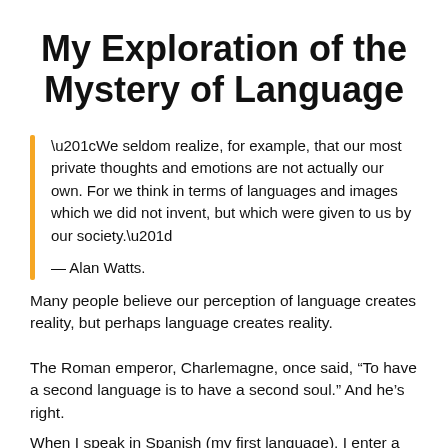My Exploration of the Mystery of Language
“We seldom realize, for example, that our most private thoughts and emotions are not actually our own. For we think in terms of languages and images which we did not invent, but which were given to us by our society.”

— Alan Watts.
Many people believe our perception of language creates reality, but perhaps language creates reality.
The Roman emperor, Charlemagne, once said, “To have a second language is to have a second soul.” And he’s right.
When I speak in Spanish (my first language), I enter a